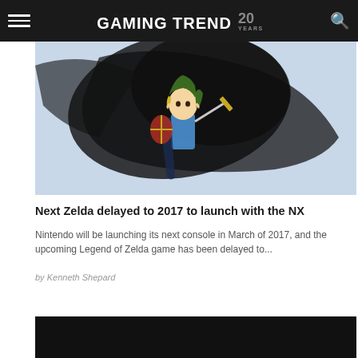GAMING TREND 20 YEARS
[Figure (illustration): Hero image showing Link character from Legend of Zelda game art with dark brushstroke background]
Next Zelda delayed to 2017 to launch with the NX
Nintendo will be launching its next console in March of 2017, and the upcoming Legend of Zelda game has been delayed to...
by Kenneth Shepard
[Figure (photo): Dark/black image at bottom of page, partially visible]